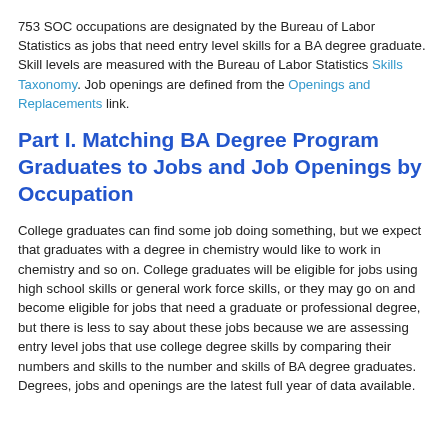753 SOC occupations are designated by the Bureau of Labor Statistics as jobs that need entry level skills for a BA degree graduate. Skill levels are measured with the Bureau of Labor Statistics Skills Taxonomy. Job openings are defined from the Openings and Replacements link.
Part I. Matching BA Degree Program Graduates to Jobs and Job Openings by Occupation
College graduates can find some job doing something, but we expect that graduates with a degree in chemistry would like to work in chemistry and so on. College graduates will be eligible for jobs using high school skills or general work force skills, or they may go on and become eligible for jobs that need a graduate or professional degree, but there is less to say about these jobs because we are assessing entry level jobs that use college degree skills by comparing their numbers and skills to the number and skills of BA degree graduates. Degrees, jobs and openings are the latest full year of data available.